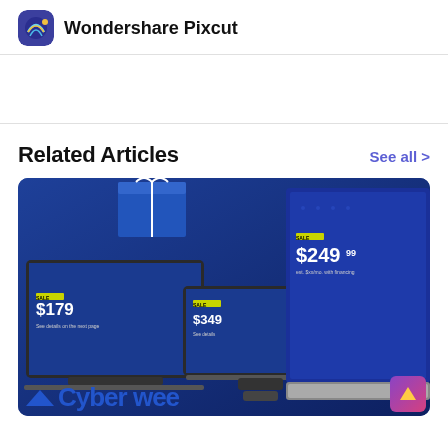Wondershare Pixcut
Related Articles
See all >
[Figure (photo): Best Buy Cyber Week advertisement showing laptops and electronics with prices ($179, $349, $249.99) and 'Cyber Week' text in blue]